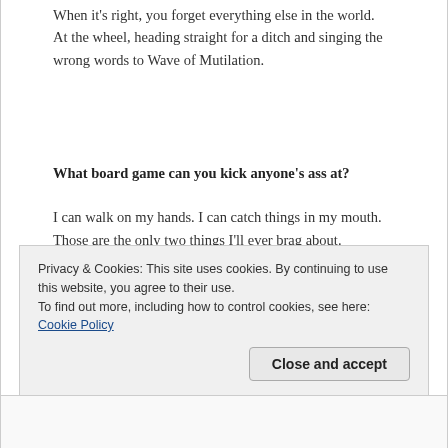When it's right, you forget everything else in the world. At the wheel, heading straight for a ditch and singing the wrong words to Wave of Mutilation.
What board game can you kick anyone's ass at?
I can walk on my hands. I can catch things in my mouth. Those are the only two things I'll ever brag about.
Matt Pond PA has just recorded a song for 'Guilt By
Privacy & Cookies: This site uses cookies. By continuing to use this website, you agree to their use.
To find out more, including how to control cookies, see here: Cookie Policy
Close and accept